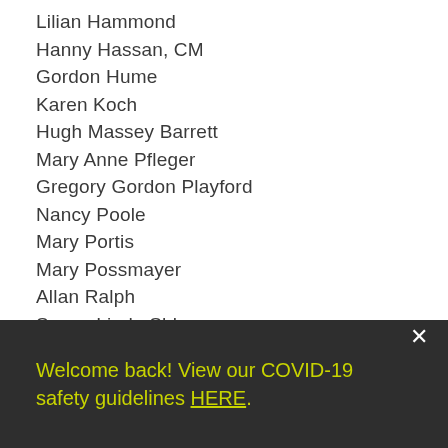Lilian Hammond
Hanny Hassan, CM
Gordon Hume
Karen Koch
Hugh Massey Barrett
Mary Anne Pfleger
Gregory Gordon Playford
Nancy Poole
Mary Portis
Mary Possmayer
Allan Ralph
Susan Linda Shkrum
Patrick Thibert
Katherine Turner
Unity Values
Bev Varley
Welcome back! View our COVID-19 safety guidelines HERE.